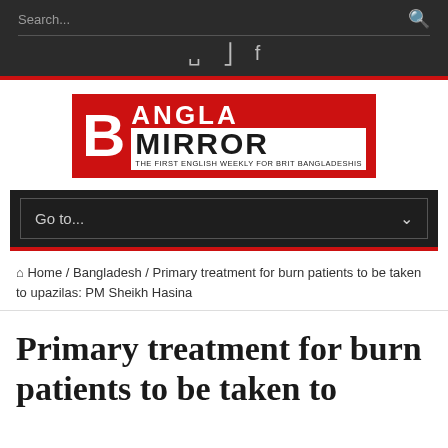Search...
[Figure (logo): Bangla Mirror newspaper logo — red background with large white B, BANGLA text, MIRROR text in black on white strip, tagline: THE FIRST ENGLISH WEEKLY FOR BRIT BANGLADESHIS]
Go to...
Home / Bangladesh / Primary treatment for burn patients to be taken to upazilas: PM Sheikh Hasina
Primary treatment for burn patients to be taken to